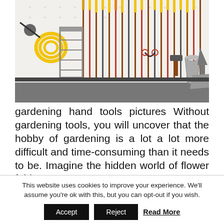[Figure (photo): Photograph of a wall-mounted garden tool organizer showing numerous long-handled tools (rakes, hoes, etc.) with yellow and red handles arranged vertically, along with a yellow hose coil, a metal step ladder, a bucket, and various hand tools hanging on a white pegboard wall.]
gardening hand tools pictures Without gardening tools, you will uncover that the hobby of gardening is a lot a lot more difficult and time-consuming than it needs to be. Imagine the hidden world of flower fairies.
This website uses cookies to improve your experience. We'll assume you're ok with this, but you can opt-out if you wish.